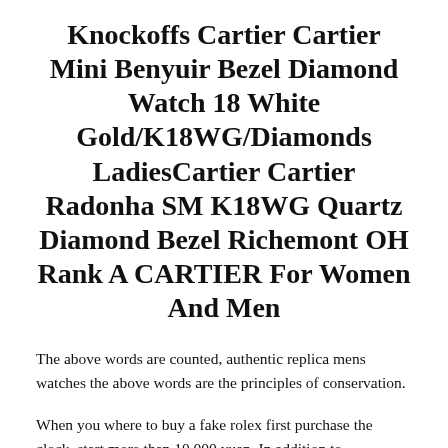Knockoffs Cartier Cartier Mini Benyuir Bezel Diamond Watch 18 White Gold/K18WG/Diamonds LadiesCartier Cartier Radonha SM K18WG Quartz Diamond Bezel Richemont OH Rank A CARTIER For Women And Men
The above words are counted, authentic replica mens watches the above words are the principles of conservation.
When you where to buy a fake rolex first purchase the clock, start more than 10,000 yuan. In addition to